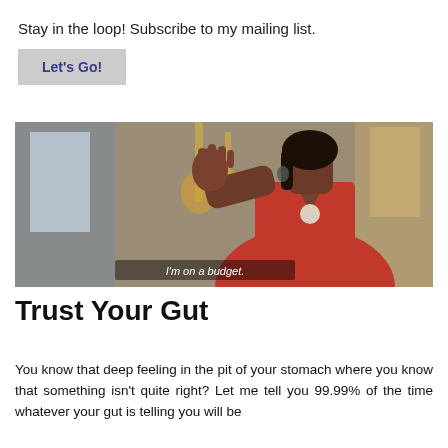Stay in the loop! Subscribe to my mailing list.
Let's Go!
[Figure (photo): A woman in a red dress holding up her hand in a 'stop' gesture in an elegant interior setting. A subtitle reads: I'm on a budget.]
Trust Your Gut
You know that deep feeling in the pit of your stomach where you know that something isn't quite right? Let me tell you 99.99% of the time whatever your gut is telling you will be right. Don't dismiss it.